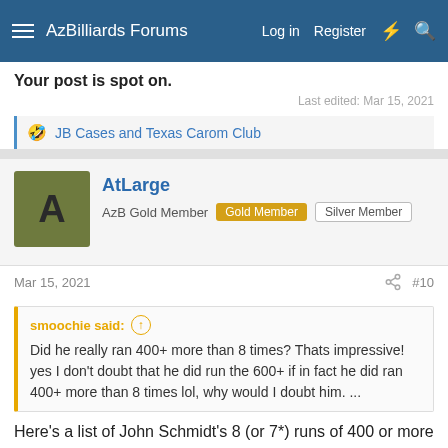AzBilliards Forums  Log in  Register
Your post is spot on.
Last edited: Mar 15, 2021
🤣 JB Cases and Texas Carom Club
AtLarge
AzB Gold Member  Gold Member  Silver Member
Mar 15, 2021  #10
smoochie said: ⊕
Did he really ran 400+ more than 8 times? Thats impressive! yes I don't doubt that he did run the 600+ if in fact he did ran 400+ more than 8 times lol, why would I doubt him. ...
Here's a list of John Schmidt's 8 (or 7*) runs of 400 or more (previously posted):